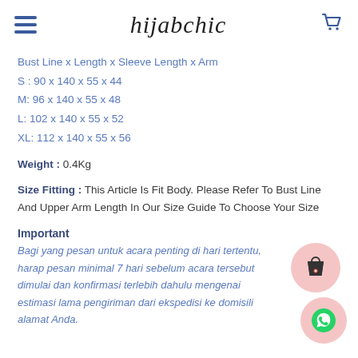hijabchic
Bust Line x Length x Sleeve Length x Arm
S : 90 x 140 x 55 x 44
M: 96 x 140 x 55 x 48
L: 102 x 140 x 55 x 52
XL: 112 x 140 x 55 x 56
Weight : 0.4Kg
Size Fitting : This Article Is Fit Body. Please Refer To Bust Line And Upper Arm Length In Our Size Guide To Choose Your Size
Important
Bagi yang pesan untuk acara penting di hari tertentu, harap pesan minimal 7 hari sebelum acara tersebut dimulai dan konfirmasi terlebih dahulu mengenai estimasi lama pengiriman dari ekspedisi ke domisili alamat Anda.